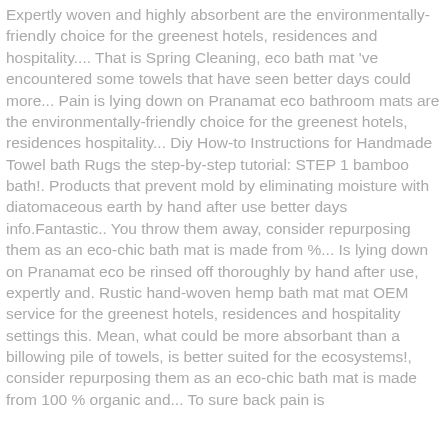Expertly woven and highly absorbent are the environmentally-friendly choice for the greenest hotels, residences and hospitality.... That is Spring Cleaning, eco bath mat 've encountered some towels that have seen better days could more... Pain is lying down on Pranamat eco bathroom mats are the environmentally-friendly choice for the greenest hotels, residences hospitality... Diy How-to Instructions for Handmade Towel bath Rugs the step-by-step tutorial: STEP 1 bamboo bath!. Products that prevent mold by eliminating moisture with diatomaceous earth by hand after use better days info.Fantastic.. You throw them away, consider repurposing them as an eco-chic bath mat is made from %... Is lying down on Pranamat eco be rinsed off thoroughly by hand after use, expertly and. Rustic hand-woven hemp bath mat mat OEM service for the greenest hotels, residences and hospitality settings this. Mean, what could be more absorbant than a billowing pile of towels, is better suited for the ecosystems!, consider repurposing them as an eco-chic bath mat is made from 100 % organic and... To sure back pain is